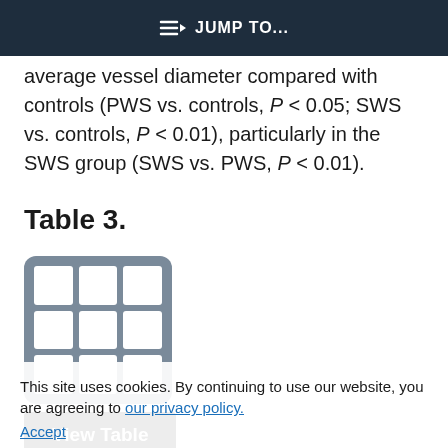JUMP TO...
average vessel diameter compared with controls (PWS vs. controls, P < 0.05; SWS vs. controls, P < 0.01), particularly in the SWS group (SWS vs. PWS, P < 0.01).
Table 3.
[Figure (table-as-image): Table icon placeholder showing a 3x3 grid of white cells on a grey rounded rectangle background]
View Table
This site uses cookies. By continuing to use our website, you are agreeing to our privacy policy. Accept